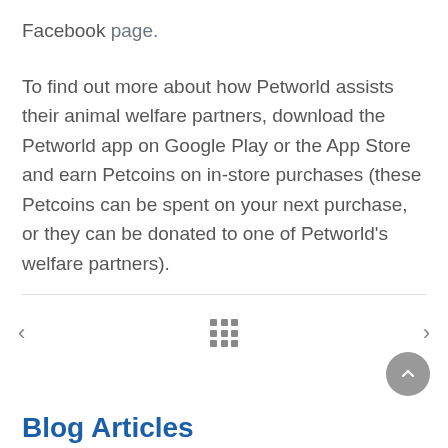Facebook page.
To find out more about how Petworld assists their animal welfare partners, download the Petworld app on Google Play or the App Store and earn Petcoins on in-store purchases (these Petcoins can be spent on your next purchase, or they can be donated to one of Petworld's welfare partners).
[Figure (other): Navigation bar with left arrow, grid icon, and right arrow for article navigation]
[Figure (other): Scroll to top circular button with upward chevron]
Blog Articles